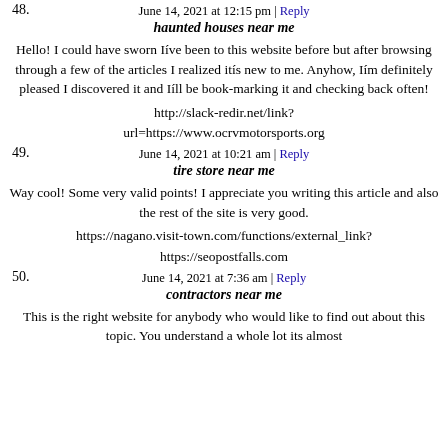48. haunted houses near me
June 14, 2021 at 12:15 pm | Reply
Hello! I could have sworn Iíve been to this website before but after browsing through a few of the articles I realized itís new to me. Anyhow, Iím definitely pleased I discovered it and Iíll be book-marking it and checking back often!
http://slack-redir.net/link?url=https://www.ocrvmotorsports.org
49. tire store near me
June 14, 2021 at 10:21 am | Reply
Way cool! Some very valid points! I appreciate you writing this article and also the rest of the site is very good.
https://nagano.visit-town.com/functions/external_link?https://seopostfalls.com
50. contractors near me
June 14, 2021 at 7:36 am | Reply
This is the right website for anybody who would like to find out about this topic. You understand a whole lot its almost